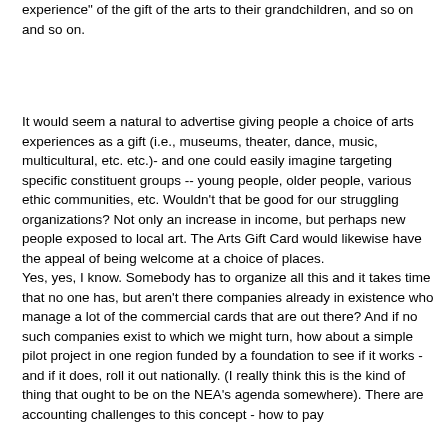experience" of the gift of the arts to their grandchildren, and so on and so on.
It would seem a natural to advertise giving people a choice of arts experiences as a gift (i.e., museums, theater, dance, music, multicultural, etc. etc.)- and one could easily imagine targeting specific constituent groups -- young people, older people, various ethic communities, etc. Wouldn't that be good for our struggling organizations? Not only an increase in income, but perhaps new people exposed to local art. The Arts Gift Card would likewise have the appeal of being welcome at a choice of places.
Yes, yes, I know. Somebody has to organize all this and it takes time that no one has, but aren't there companies already in existence who manage a lot of the commercial cards that are out there? And if no such companies exist to which we might turn, how about a simple pilot project in one region funded by a foundation to see if it works - and if it does, roll it out nationally. (I really think this is the kind of thing that ought to be on the NEA's agenda somewhere). There are accounting challenges to this concept - how to pay